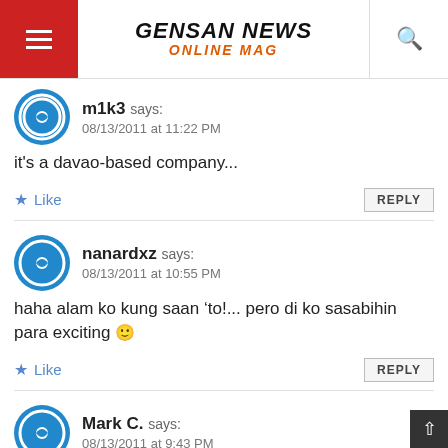GENSAN NEWS ONLINE MAG
m1k3 says:
08/13/2011 at 11:22 PM
it's a davao-based company...
Like   REPLY
nanardxz says:
08/13/2011 at 10:55 PM
haha alam ko kung saan ‘to!... pero di ko sasabihin para exciting 🙂
Like   REPLY
Mark C. says:
08/13/2011 at 9:43 PM
Alam q po sir..Sa Dad.Hts Aparente st. ang new 2nd branch ng